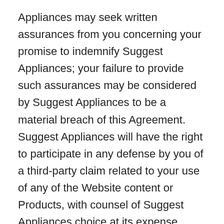Appliances may seek written assurances from you concerning your promise to indemnify Suggest Appliances; your failure to provide such assurances may be considered by Suggest Appliances to be a material breach of this Agreement. Suggest Appliances will have the right to participate in any defense by you of a third-party claim related to your use of any of the Website content or Products, with counsel of Suggest Appliances choice at its expense. Suggest Appliances reasonably cooperate in any defense by you of a third-party claim at your request and expense. You will have sole responsibility to defend Suggest Appliances against any claim, but you must receive Suggest Appliances prior written consent regarding any related settlement. The terms of this provision will surviv